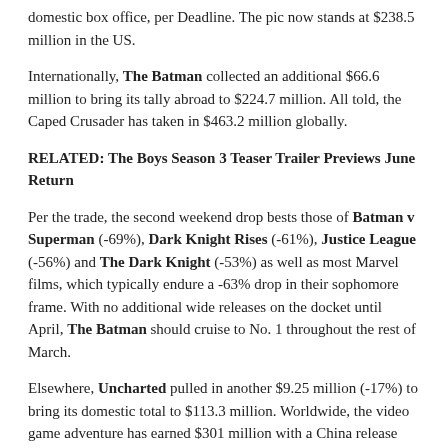domestic box office, per Deadline. The pic now stands at $238.5 million in the US.
Internationally, The Batman collected an additional $66.6 million to bring its tally abroad to $224.7 million. All told, the Caped Crusader has taken in $463.2 million globally.
RELATED: The Boys Season 3 Teaser Trailer Previews June Return
Per the trade, the second weekend drop bests those of Batman v Superman (-69%), Dark Knight Rises (-61%), Justice League (-56%) and The Dark Knight (-53%) as well as most Marvel films, which typically endure a -63% drop in their sophomore frame. With no additional wide releases on the docket until April, The Batman should cruise to No. 1 throughout the rest of March.
Elsewhere, Uncharted pulled in another $9.25 million (-17%) to bring its domestic total to $113.3 million. Worldwide, the video game adventure has earned $301 million with a China release kicking off today.